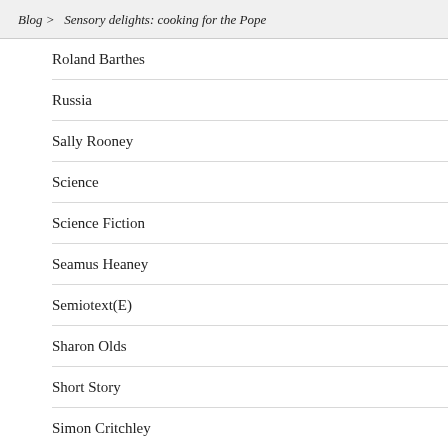Blog > Sensory delights: cooking for the Pope
Roland Barthes
Russia
Sally Rooney
Science
Science Fiction
Seamus Heaney
Semiotext(E)
Sharon Olds
Short Story
Simon Critchley
Slate